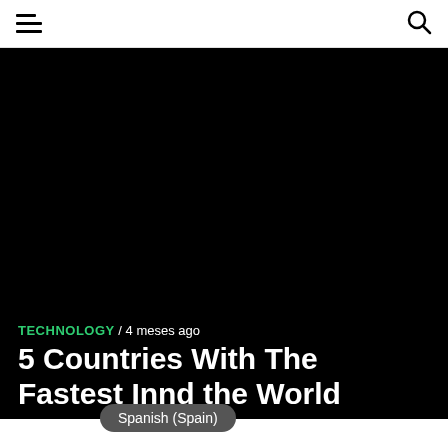☰  🔍
[Figure (photo): Large black hero image background for article about fastest internet countries]
TECHNOLOGY / 4 meses ago
5 Countries With The Fastest Internet Around the World
Spanish (Spain)